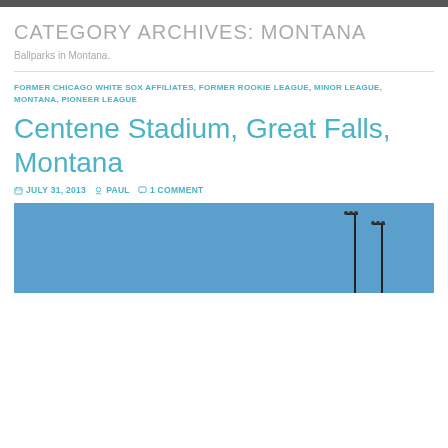CATEGORY ARCHIVES: MONTANA
Ballparks in Montana.
FORMER CHICAGO WHITE SOX AFFILIATES, FORMER ROOKIE LEAGUE, MINOR LEAGUE, MONTANA, PIONEER LEAGUE
Centene Stadium, Great Falls, Montana
JULY 31, 2013  PAUL  1 COMMENT
[Figure (photo): Outdoor ballpark photo showing blue sky with light poles visible on the right side]